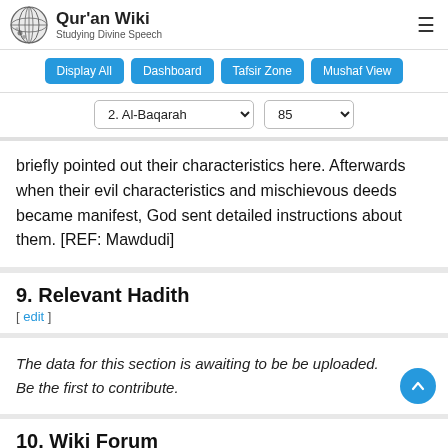Qur'an Wiki — Studying Divine Speech
briefly pointed out their characteristics here. Afterwards when their evil characteristics and mischievous deeds became manifest, God sent detailed instructions about them. [REF: Mawdudi]
9. Relevant Hadith
[ edit ]
The data for this section is awaiting to be be uploaded. Be the first to contribute.
10. Wiki Forum